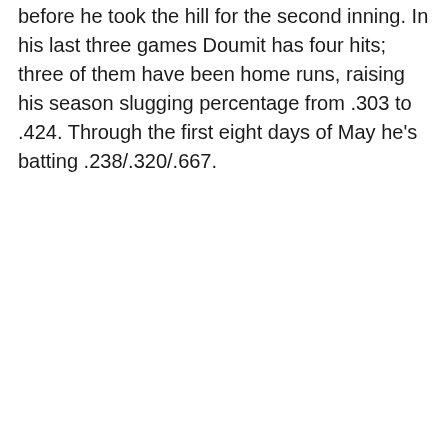before he took the hill for the second inning. In his last three games Doumit has four hits; three of them have been home runs, raising his season slugging percentage from .303 to .424. Through the first eight days of May he's batting .238/.320/.667.